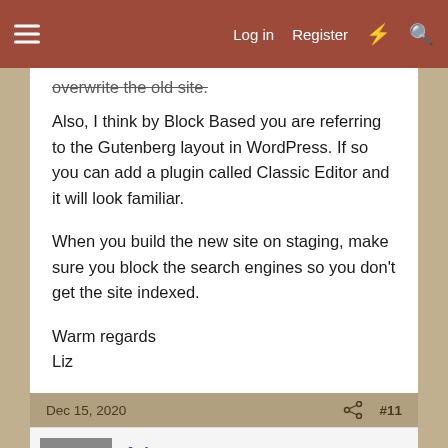Log in  Register
overwrite the old site.
Also, I think by Block Based you are referring to the Gutenberg layout in WordPress. If so you can add a plugin called Classic Editor and it will look familiar.
When you build the new site on staging, make sure you block the search engines so you don't get the site indexed.
Warm regards
Liz
Dec 15, 2020
#11
Arks
Well-known member